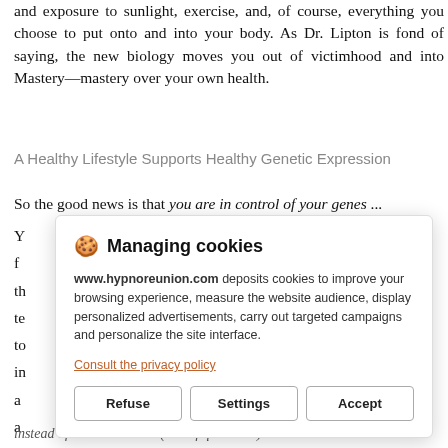and exposure to sunlight, exercise, and, of course, everything you choose to put onto and into your body. As Dr. Lipton is fond of saying, the new biology moves you out of victimhood and into Mastery—mastery over your own health.
A Healthy Lifestyle Supports Healthy Genetic Expression
So the good news is that you are in control of your genes …
Y
f
th
te
to
in
a
a
a
h
[Figure (screenshot): Cookie consent popup dialog with title 'Managing cookies', description text about www.hypnoreunion.com depositing cookies, a privacy policy link, and three buttons: Refuse, Settings, Accept.]
instead of diseased cells.  (end of quotation)